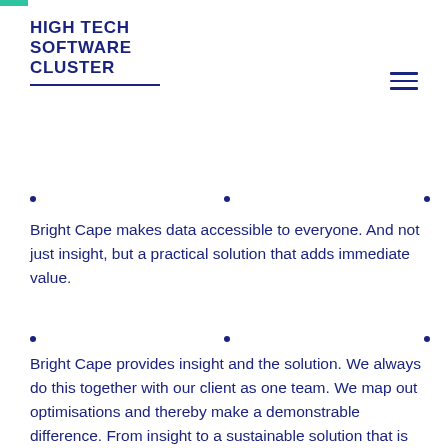HIGH TECH SOFTWARE CLUSTER
Bright Cape makes data accessible to everyone. And not just insight, but a practical solution that adds immediate value.
Bright Cape provides insight and the solution. We always do this together with our client as one team. We map out optimisations and thereby make a demonstrable difference. From insight to a sustainable solution that is secured within the organization, only then are we satisfied.